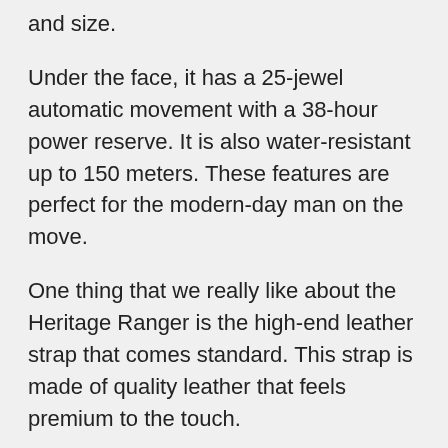and size.
Under the face, it has a 25-jewel automatic movement with a 38-hour power reserve. It is also water-resistant up to 150 meters. These features are perfect for the modern-day man on the move.
One thing that we really like about the Heritage Ranger is the high-end leather strap that comes standard. This strap is made of quality leather that feels premium to the touch.
If you have a preference for the classic things in life, like good whiskey, old cars, and tailored suits, the Tudor Heritage Ranger is a fine choice.